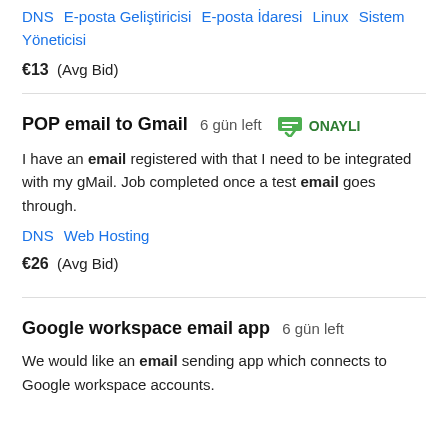DNS  E-posta Geliştiricisi  E-posta İdaresi  Linux  Sistem Yöneticisi
€13  (Avg Bid)
POP email to Gmail  6 gün left  ONAYLI
I have an email registered with that I need to be integrated with my gMail. Job completed once a test email goes through.
DNS  Web Hosting
€26  (Avg Bid)
Google workspace email app  6 gün left
We would like an email sending app which connects to Google workspace accounts.